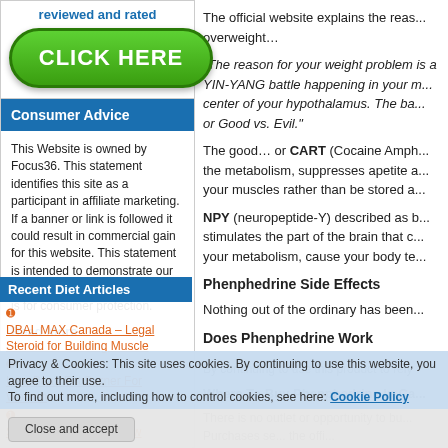[Figure (other): Green 'CLICK HERE' button with blue text above reading 'reviewed and rated']
Consumer Advice
This Website is owned by Focus36. This statement identifies this site as a participant in affiliate marketing. If a banner or link is followed it could result in commercial gain for this website. This statement is intended to demonstrate our transparency and legitimacy and is for consumer protection.
Read More
The official website explains the reason why people become overweight…
“The reason for your weight problem is a YIN-YANG battle happening in your mind, in the center of your hypothalamus. The battle of Good vs. Evil.”
The good… or CART (Cocaine Amphetamine... the metabolism, suppresses apetite a... your muscles rather than be stored a...
NPY (neuropeptide-Y) described as b... stimulates the part of the brain that c... your metabolism, cause your body te...
Phenphedrine Side Effects
Nothing out of the ordinary has been...
Does Phenphedrine Work
Recent Diet Articles
DBAL MAX Canada – Legal Steroid for Building Muscle
LeanBean Fat Burner For Women
Skinny Body Max Review
Privacy & Cookies: This site uses cookies. By continuing to use this website, you agree to their use. To find out more, including how to control cookies, see here: Cookie Policy
There is no outlet or opportunity to bu... Purchases se... the offi...
Recommended Alternative
Close and accept